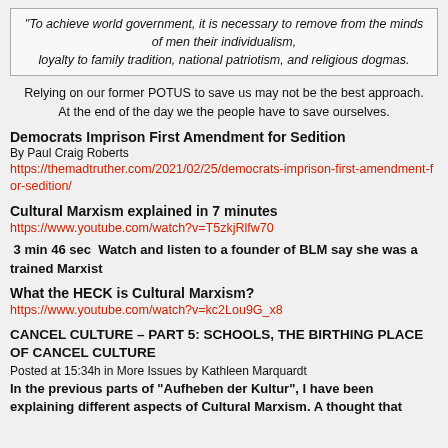“To achieve world government, it is necessary to remove from the minds of men their individualism, loyalty to family tradition, national patriotism, and religious dogmas.
Relying on our former POTUS to save us may not be the best approach. At the end of the day we the people have to save ourselves.
Democrats Imprison First Amendment for Sedition
By Paul Craig Roberts
https://themadtruther.com/2021/02/25/democrats-imprison-first-amendment-for-sedition/
Cultural Marxism explained in 7 minutes
https://www.youtube.com/watch?v=T5zkjRlfw70
3 min 46 sec  Watch and listen to a founder of BLM say she was a trained Marxist
What the HECK is Cultural Marxism?
https://www.youtube.com/watch?v=kc2Lou9G_x8
CANCEL CULTURE – PART 5: SCHOOLS, THE BIRTHING PLACE OF CANCEL CULTURE
Posted at 15:34h in More Issues by Kathleen Marquardt
In the previous parts of “Aufheben der Kultur”, I have been explaining different aspects of Cultural Marxism. A thought that